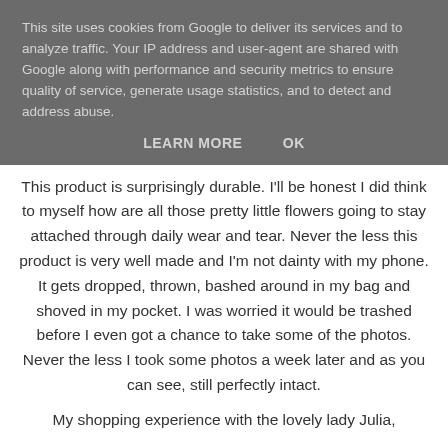This site uses cookies from Google to deliver its services and to analyze traffic. Your IP address and user-agent are shared with Google along with performance and security metrics to ensure quality of service, generate usage statistics, and to detect and address abuse.
LEARN MORE   OK
This product is surprisingly durable. I'll be honest I did think to myself how are all those pretty little flowers going to stay attached through daily wear and tear. Never the less this product is very well made and I'm not dainty with my phone. It gets dropped, thrown, bashed around in my bag and shoved in my pocket. I was worried it would be trashed before I even got a chance to take some of the photos. Never the less I took some photos a week later and as you can see, still perfectly intact.
My shopping experience with the lovely lady Julia,